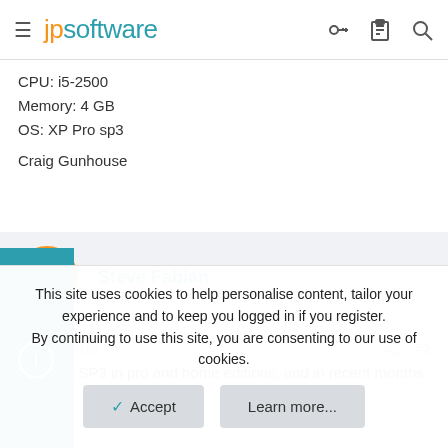jpsoftware
CPU: i5-2500
Memory: 4 GB
OS: XP Pro sp3
Craig Gunhouse
Steve Fabian
Jun 15, 2012  #2
I use XP SP3 in pro and home editions, and in recent months
This site uses cookies to help personalise content, tailor your experience and to keep you logged in if you register.
By continuing to use this site, you are consenting to our use of cookies.